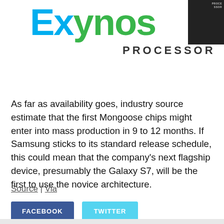[Figure (logo): Exynos Processor logo with blue and green lettering, alongside a dark chip image in the top right corner]
As far as availability goes, industry source estimate that the first Mongoose chips might enter into mass production in 9 to 12 months. If Samsung sticks to its standard release schedule, this could mean that the company's next flagship device, presumably the Galaxy S7, will be the first to use the novice architecture.
Source | Via
FACEBOOK   TWITTER